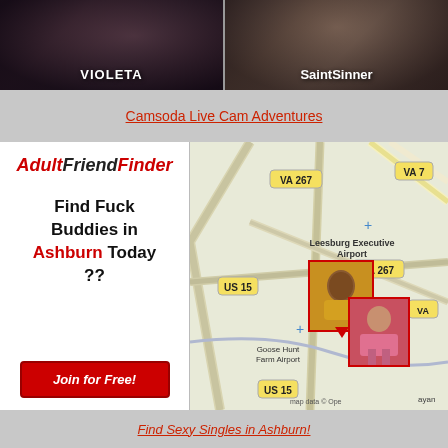[Figure (photo): Two side-by-side webcam thumbnails: left shows VIOLETA, right shows SaintSinner]
Camsoda Live Cam Adventures
[Figure (infographic): AdultFriendFinder advertisement with logo, text 'Find Fuck Buddies in Ashburn Today ??' and Join for Free button]
[Figure (map): Map showing Ashburn/Leesburg Virginia area with VA 267, VA 7, US 15 roads, Leesburg Executive Airport, Goose Hunt Farm Airport, and profile photo pins]
Find Sexy Singles in Ashburn!